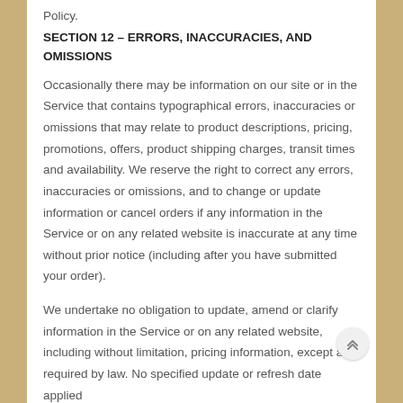Policy.
SECTION 12 – ERRORS, INACCURACIES, AND OMISSIONS
Occasionally there may be information on our site or in the Service that contains typographical errors, inaccuracies or omissions that may relate to product descriptions, pricing, promotions, offers, product shipping charges, transit times and availability. We reserve the right to correct any errors, inaccuracies or omissions, and to change or update information or cancel orders if any information in the Service or on any related website is inaccurate at any time without prior notice (including after you have submitted your order).
We undertake no obligation to update, amend or clarify information in the Service or on any related website, including without limitation, pricing information, except as required by law. No specified update or refresh date applied